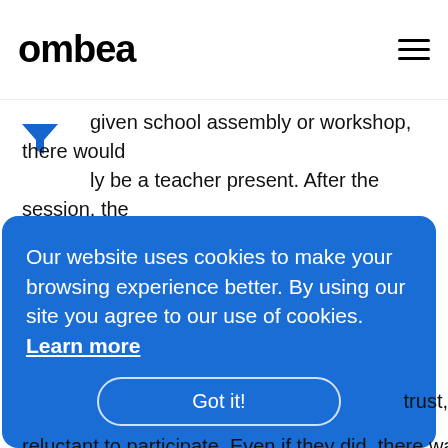ombea
given school assembly or workshop, there would ly be a teacher present. After the session, the teacher would have a discussion with the students, and would then feed this back to Isle Listen.
While the feedback was useful, there were two main drawbacks.
First, the feedback was not coming directly from
Our website uses cookies to make your browsing experience better. By using our site you agree to our use of cookies. Learn more
reluctant to participate. Even if they did, there was a risk